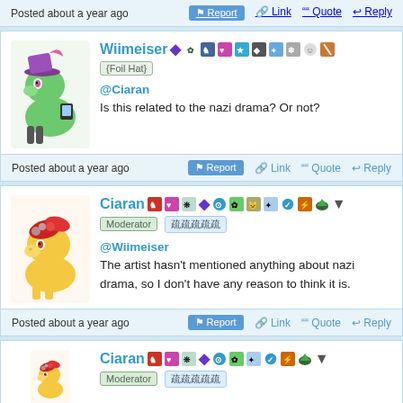Understood, I will try my best
Posted about a year ago  Report  Link  Quote  Reply
Wiimeiser {Foil Hat} @Ciaran Is this related to the nazi drama? Or not?
Posted about a year ago  Report  Link  Quote  Reply
Ciaran Moderator @Wiimeiser The artist hasn't mentioned anything about nazi drama, so I don't have any reason to think it is.
Posted about a year ago  Report  Link  Quote  Reply
Ciaran Moderator (partial)